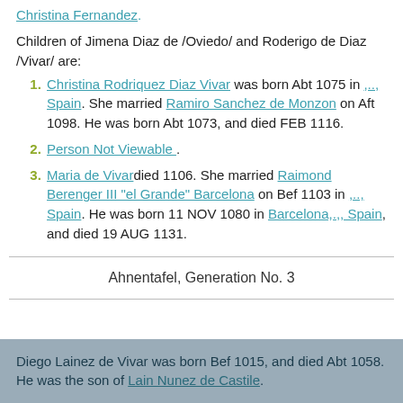Christina Fernandez.
Children of Jimena Diaz de /Oviedo/ and Roderigo de Diaz /Vivar/ are:
1. Christina Rodriquez Diaz Vivar was born Abt 1075 in ,..,Spain. She married Ramiro Sanchez de Monzon on Aft 1098. He was born Abt 1073, and died FEB 1116.
2. Person Not Viewable .
3. Maria de Vivar died 1106. She married Raimond Berenger III "el Grande" Barcelona on Bef 1103 in ,.., Spain. He was born 11 NOV 1080 in Barcelona,.,, Spain, and died 19 AUG 1131.
Ahnentafel, Generation No. 3
Diego Lainez de Vivar was born Bef 1015, and died Abt 1058. He was the son of Lain Nunez de Castile.